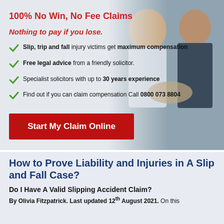100% No Win, No Fee Claims
Nothing to pay if you lose.
Slip, trip and fall injury victims get maximum compensation
Free legal advice from a friendly solicitor.
Specialist solicitors with up to 30 years experience
Find out if you can claim compensation Call 0800 073 8804
Start My Claim Online
How to Prove Liability and Injuries in A Slip and Fall Case?
Do I Have A Valid Slipping Accident Claim?
By Olivia Fitzpatrick. Last updated 12th August 2021. On this